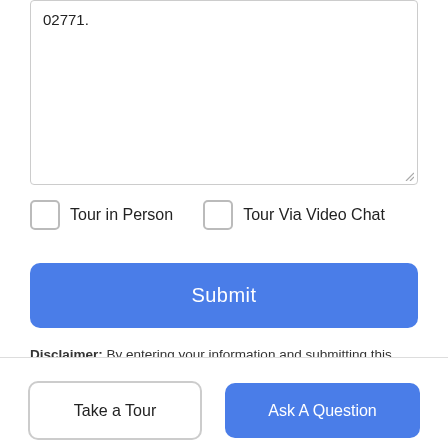02771.
Tour in Person
Tour Via Video Chat
Submit
Disclaimer: By entering your information and submitting this form, you agree to our Terms of Use and Privacy Policy and that you may be contacted by phone, text message and email about your inquiry.
The property listing data and information set forth herein were provided to MLS Property Information Network, Inc. from third party sources, including sellers, lessors and public records, and
Take a Tour
Ask A Question